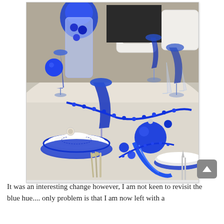[Figure (photo): A beautifully set dining table with cobalt blue dinnerware, crystal glassware, blue stemmed goblets, silver cutlery, white napkins, blue bead garlands, blue ornament balls, and blue ribbon decorations on a white tablecloth. White ornate dining chairs visible in background.]
It was an interesting change however, I am not keen to revisit the blue hue.... only problem is that I am now left with a